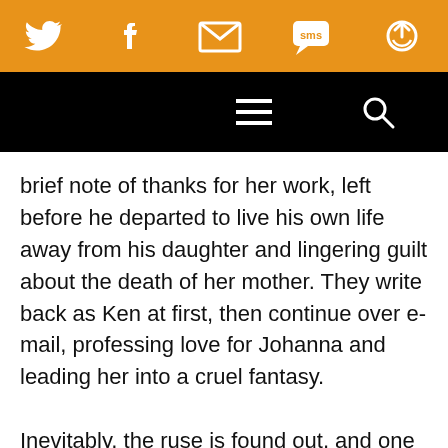[Social sharing bar with Twitter, Facebook, Email, SMS, and share icons]
[Navigation bar with hamburger menu and search icon]
brief note of thanks for her work, left before he departed to live his own life away from his daughter and lingering guilt about the death of her mother. They write back as Ken at first, then continue over e-mail, professing love for Johanna and leading her into a cruel fantasy.

Inevitably, the ruse is found out, and one of the best decisions made by screenwriter Mark Po[irier] that this turn comes early, a little less than ha[lfway] through. But once the schadenfreude of watching